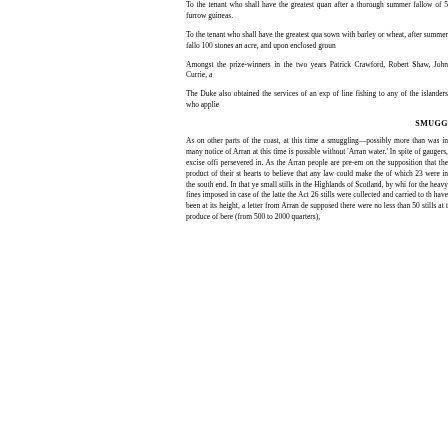To the tenant who shall have the greatest quantity of turnips after a thorough summer fallow of 5 furrows, guineas.
To the tenant who shall have the greatest quantity of ground sown with barley or wheat, after summer fallow, and dunged with 100 stones an acre, and upon enclosed ground.
Amongst the prize-winners in the two years were Patrick Crawford, Robert Shaw, John Currie, a
The Duke also obtained the services of an exp of line fishing to any of the islanders who applie
SMUGG
As on other parts of the coast, at this time a smuggling—possibly more than was in many notice of Arran at this time is possible without 'Arran water.' In spite of gaugers, excise offi persevered in. As the Arran people are pre-em on the supposition that the product of their st hearts to believe that any law could make the of which 23 were in the south end. In that ye small stills in the Highlands of Scotland, by whi for the heavy fines imposed in case of the latte the Act 26 stills were collected and carried to th have been at its height, a letter from Arran de supposed there were no less than 50 stills at t produce of bere (from 500 to 2000 quarters),